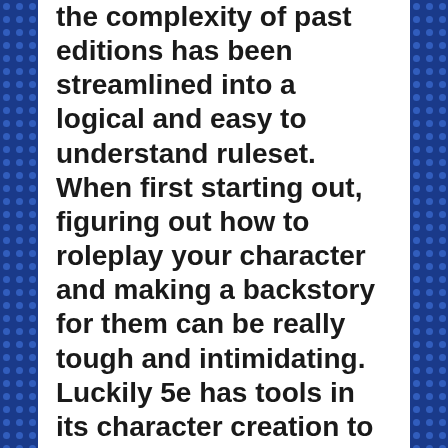the complexity of past editions has been streamlined into a logical and easy to understand ruleset. When first starting out, figuring out how to roleplay your character and making a backstory for them can be really tough and intimidating. Luckily 5e has tools in its character creation to help facilitate roleplay by generating Traits, Flaws, Bonds and Ideals as you create your character, and has you pick a background like Street Urchin, Entertainer or Hermit to help you know where your character came from.
To actually play 5e, you'll need the Players Handbook (PHB), which you can